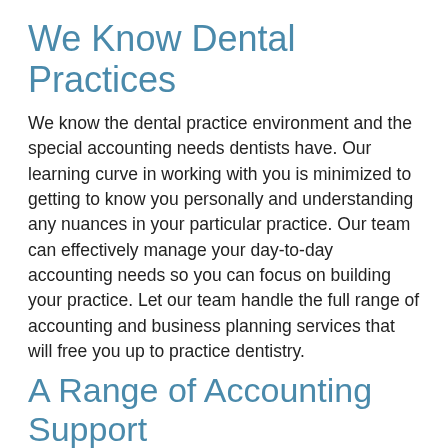We Know Dental Practices
We know the dental practice environment and the special accounting needs dentists have. Our learning curve in working with you is minimized to getting to know you personally and understanding any nuances in your particular practice. Our team can effectively manage your day-to-day accounting needs so you can focus on building your practice. Let our team handle the full range of accounting and business planning services that will free you up to practice dentistry.
A Range of Accounting Support
Imagine working with a CPA who can handle all the details of your accounting needs, including bookkeeping services, payroll processing services, tax services and business planning—comprehensive management of the business side of your practice, with your business goals identified and tracked along the way. A CPA for a dental practice should